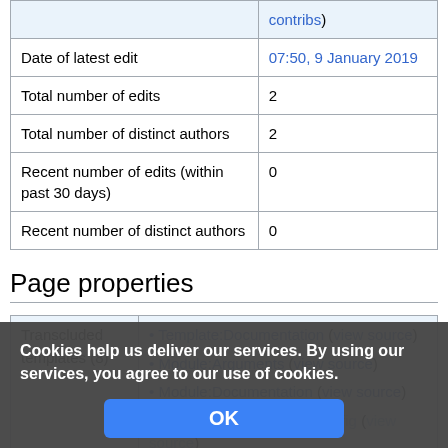|  |  |
| --- | --- |
|  | contribs) |
| Date of latest edit | 07:50, 9 January 2019 |
| Total number of edits | 2 |
| Total number of distinct authors | 2 |
| Recent number of edits (within past 30 days) | 0 |
| Recent number of distinct authors | 0 |
Page properties
|  |  |
| --- | --- |
| Transcluded templates (8) | • Template:Documentation (view source)
• Module:Arguments (view source)
• Module:Documentation (view source)
• Module:Documentation/config (view source)
• Module:Message box (view source)
• Module:Message box/configuration |
Cookies help us deliver our services. By using our services, you agree to our use of cookies.